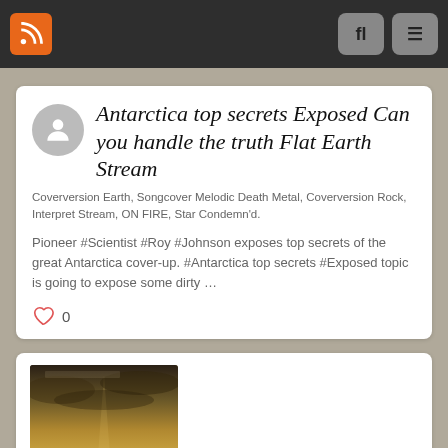RSS feed | Search | Menu
Antarctica top secrets Exposed Can you handle the truth Flat Earth Stream
Coverversion Earth, Songcover Melodic Death Metal, Coverversion Rock, Interpret Stream, ON FIRE, Star Condemn'd.
Pioneer #Scientist #Roy #Johnson exposes top secrets of the great Antarctica cover-up. #Antarctica top secrets #Exposed topic is going to expose some dirty …
0
[Figure (photo): Dark moody landscape photo with cloudy sky and silhouettes at bottom, used as thumbnail for a second article card]